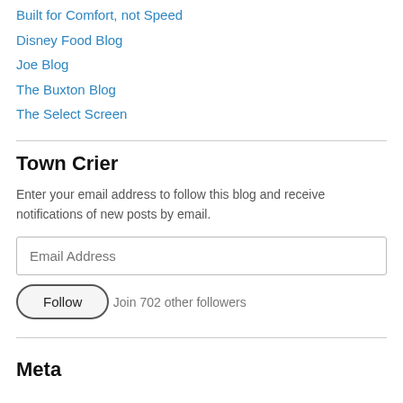Built for Comfort, not Speed
Disney Food Blog
Joe Blog
The Buxton Blog
The Select Screen
Town Crier
Enter your email address to follow this blog and receive notifications of new posts by email.
Email Address
Follow
Join 702 other followers
Meta